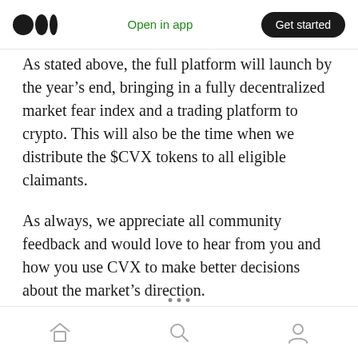Medium logo | Open in app | Get started
As stated above, the full platform will launch by the year’s end, bringing in a fully decentralized market fear index and a trading platform to crypto. This will also be the time when we distribute the $CVX tokens to all eligible claimants.
As always, we appreciate all community feedback and would love to hear from you and how you use CVX to make better decisions about the market’s direction.
Home | Search | Profile